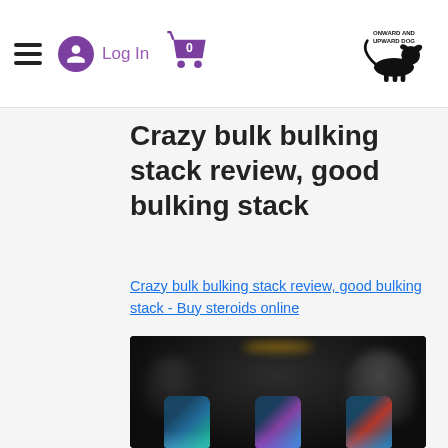≡  Log In  [cart: 0]  Onward and Upward Dog
Crazy bulk bulking stack review, good bulking stack
Crazy bulk bulking stack review, good bulking stack - Buy steroids online
[Figure (photo): Dark blurred product image showing supplement bottles at the bottom with colorful labels, and blurred figure/background in dark tones.]